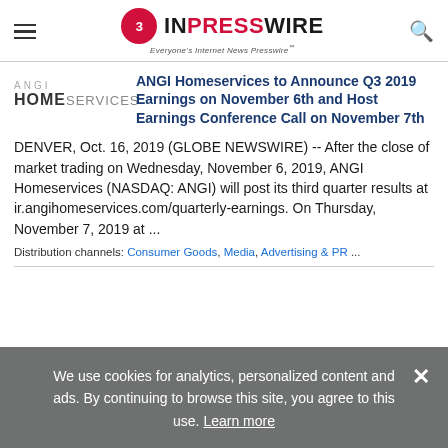EIN PRESSWIRE — Everyone's Internet News Presswire
[Figure (logo): ANGI HomeServices company logo with ANGI in grey and HOMESERVICES in bold black]
ANGI Homeservices to Announce Q3 2019 Earnings on November 6th and Host Earnings Conference Call on November 7th
DENVER, Oct. 16, 2019 (GLOBE NEWSWIRE) -- After the close of market trading on Wednesday, November 6, 2019, ANGI Homeservices (NASDAQ: ANGI) will post its third quarter results at ir.angihomeservices.com/quarterly-earnings. On Thursday, November 7, 2019 at ...
Distribution channels: Consumer Goods, Media, Advertising & PR ...
We use cookies for analytics, personalized content and ads. By continuing to browse this site, you agree to this use. Learn more